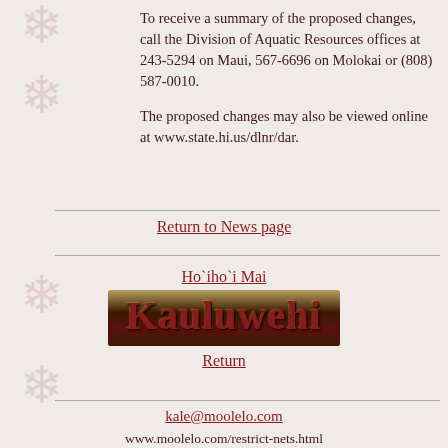To receive a summary of the proposed changes, call the Division of Aquatic Resources offices at 243-5294 on Maui, 567-6696 on Molokai or (808) 587-0010.
The proposed changes may also be viewed online at www.state.hi.us/dlnr/dar.
Return to News page
Ho`iho`i Mai
[Figure (other): Gothic blackletter banner reading 'Kauluwehi' with dark brown gradient background]
Return
kale@moolelo.com
www.moolelo.com/restrict-nets.html